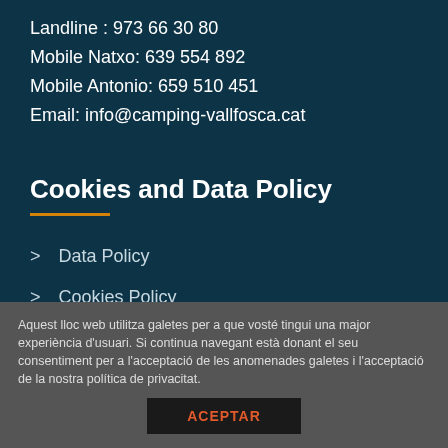Landline : 973 66 30 80
Mobile Natxo: 639 554 892
Mobile Antonio: 659 510 451
Email: info@camping-vallfosca.cat
Cookies and Data Policy
Data Policy
Cookies Policy
Aquest lloc web utilitza galetes per a que vosté tingui una major experiència d'usuari. Si continua navegant està donant el seu consentiment per a l'acceptació de les anomenades galetes i l'acceptació de la nostra política de privacitat.